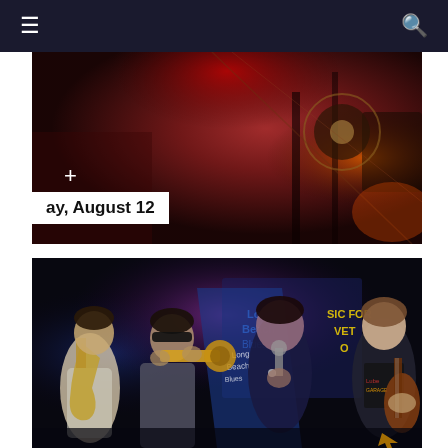Navigation bar with menu and search icons
[Figure (photo): Dark red-toned concert/performance photo with stage lighting and equipment. A white text overlay reads 'ay, August 12' (partial date text visible). A plus (+) icon is visible on the left side.]
[Figure (photo): Band performing on stage at what appears to be the Long Beach Blues Festival. Musicians include a saxophonist on left, a trumpet player with sunglasses, a vocalist/performer in a dark jacket in the center, and a guitarist on the right. A banner in the background reads 'Long Beach Blues' and 'SIC FOR VET O' (Music for Veterans partial text visible).]